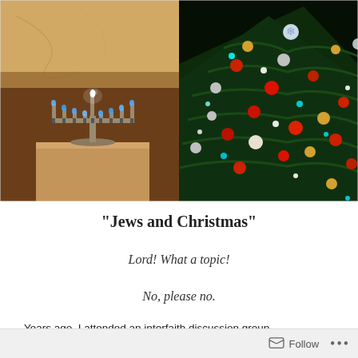[Figure (photo): A menorah with lit candles on a pedestal on the left side, and a decorated Christmas tree with colorful ornaments and lights on the right side, set against dark backgrounds]
“Jews and Christmas”
Lord! What a topic!
No, please no.
Years ago, I attended an interfaith discussion group
Follow